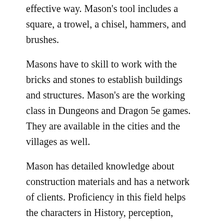effective way. Mason's tool includes a square, a trowel, a chisel, hammers, and brushes.
Masons have to skill to work with the bricks and stones to establish buildings and structures. Mason's are the working class in Dungeons and Dragon 5e games. They are available in the cities and the villages as well.
Mason has detailed knowledge about construction materials and has a network of clients. Proficiency in this field helps the characters in History, perception, demolition, and investigation.
22. Woodcarver's Tools